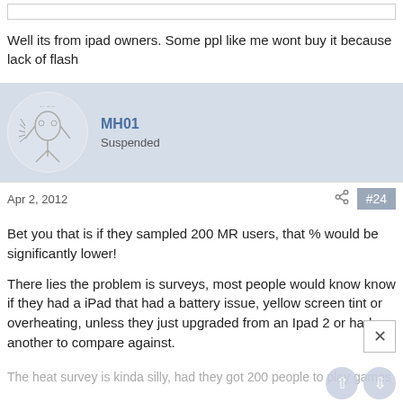Well its from ipad owners. Some ppl like me wont buy it because lack of flash
MH01
Suspended
Apr 2, 2012
#24
Bet you that is if they sampled 200 MR users, that % would be significantly lower!
There lies the problem is surveys, most people would know know if they had a iPad that had a battery issue, yellow screen tint or overheating, unless they just upgraded from an Ipad 2 or had another to compare against.
The heat survey is kinda silly, had they got 200 people to play games